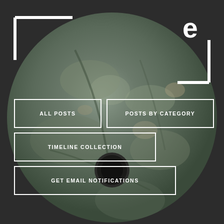[Figure (photo): A large circular stone disk with a hole in the center, photographed against a dark gray background. The stone has a rough, greenish-gray texture with natural veining and marks. White bracket/L-shaped design elements and a letter 'e' logo are overlaid on the image.]
ALL POSTS
POSTS BY CATEGORY
TIMELINE COLLECTION
GET EMAIL NOTIFICATIONS